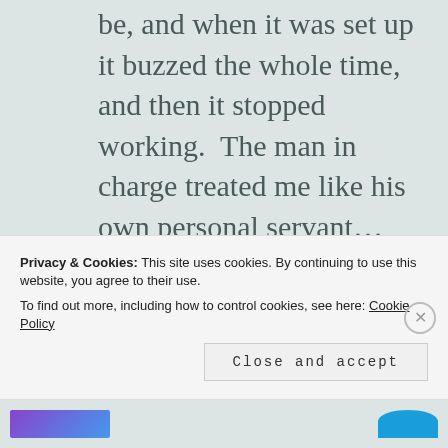be, and when it was set up it buzzed the whole time, and then it stopped working.  The man in charge treated me like his own personal servant… again.  There weren't enough chairs, so my coworkers and I had to sit outside and eat at the check-in table.  The meeting could have easily been half as long as it was, but the people in charge couldn't stop plugging their shit to make money for their organization.
Privacy & Cookies: This site uses cookies. By continuing to use this website, you agree to their use.
To find out more, including how to control cookies, see here: Cookie Policy
Close and accept